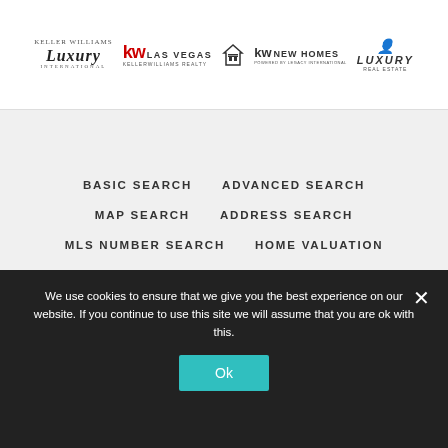[Figure (logo): Row of real estate brand logos: Keller Williams Luxury International, KW Las Vegas Keller Williams Realty, Equal Housing logo, KW New Homes powered by Legacy International, Luxury Real Estate logo]
BASIC SEARCH
ADVANCED SEARCH
MAP SEARCH
ADDRESS SEARCH
MLS NUMBER SEARCH
HOME VALUATION
MORTGAGE CALCULATOR
MY ACCOUNT
LOGIN
SIGNUP
We use cookies to ensure that we give you the best experience on our website. If you continue to use this site we will assume that you are ok with this.